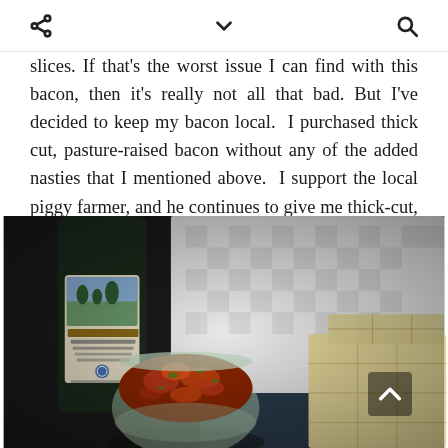[share icon] [chevron icon] [search icon]
slices. If that's the worst issue I can find with this bacon, then it's really not all that bad. But I've decided to keep my bacon local.  I purchased thick cut, pasture-raised bacon without any of the added nasties that I mentioned above.  I support the local piggy farmer, and he continues to give me thick-cut, happy, tasty bacon. It's a win-win!
[Figure (photo): A jar of tomato relish or jam in front of a bottle of Balsamic Vinegar, with crackers and a checkered cloth in the background]